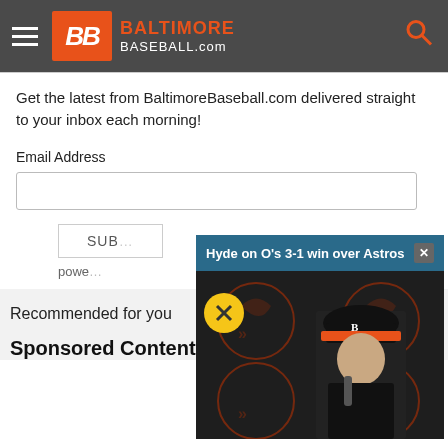[Figure (screenshot): BaltimoreBaseball.com website header with hamburger menu, orange and white logo, and orange search icon on dark grey background]
Get the latest from BaltimoreBaseball.com delivered straight to your inbox each morning!
Email Address
SUBSCRIBE
powe
[Figure (screenshot): Video popup overlay showing man in Baltimore Orioles hat and black jacket against Orioles logo backdrop, with title 'Hyde on O's 3-1 win over Astros', close button X, and mute button]
Recommended for you
Sponsored Content